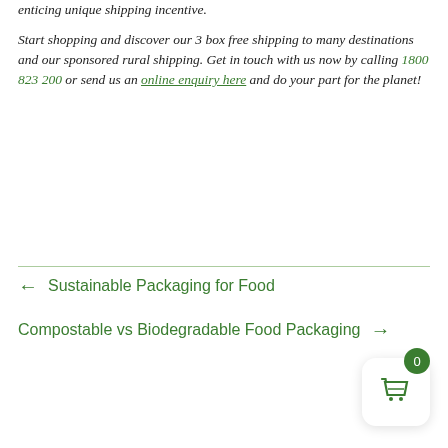enticing unique shipping incentive.
Start shopping and discover our 3 box free shipping to many destinations and our sponsored rural shipping. Get in touch with us now by calling 1800 823 200 or send us an online enquiry here and do your part for the planet!
← Sustainable Packaging for Food
Compostable vs Biodegradable Food Packaging →